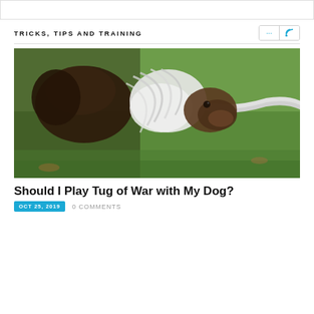TRICKS, TIPS AND TRAINING
[Figure (photo): A small puppy playing tug of war with a white rope toy on grass]
Should I Play Tug of War with My Dog?
OCT 25, 2019   0 COMMENTS